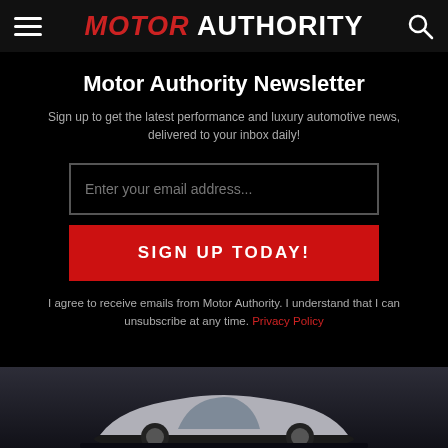MOTOR AUTHORITY
Motor Authority Newsletter
Sign up to get the latest performance and luxury automotive news, delivered to your inbox daily!
Enter your email address...
SIGN UP TODAY!
I agree to receive emails from Motor Authority. I understand that I can unsubscribe at any time. Privacy Policy
[Figure (photo): Partial view of a silver sports car silhouette against a dark gradient background]